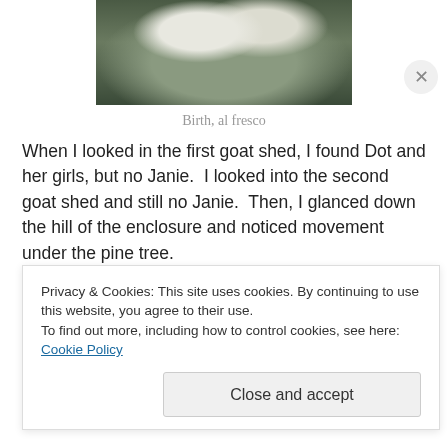[Figure (photo): Two white goats, close-up, outdoors with green background — birth scene.]
Birth, al fresco
When I looked in the first goat shed, I found Dot and her girls, but no Janie.  I looked into the second goat shed and still no Janie.  Then, I glanced down the hill of the enclosure and noticed movement under the pine tree.
Upon closer inspection, I realized that not only was Janie sitting under the pine tree with her brand new, lovely sons,
Privacy & Cookies: This site uses cookies. By continuing to use this website, you agree to their use.
To find out more, including how to control cookies, see here: Cookie Policy